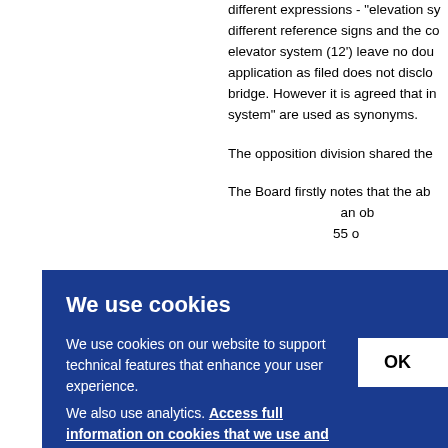different expressions - "elevation sy... different reference signs and the co... elevator system (12') leave no doub... application as filed does not disclos... bridge. However it is agreed that in... system" are used as synonyms.

The opposition division shared the

The Board firstly notes that the abo... an obj... 55 o...
We use cookies

We use cookies on our website to support technical features that enhance your user experience.
We also use analytics. Access full information on cookies that we use and how to manage them

OK